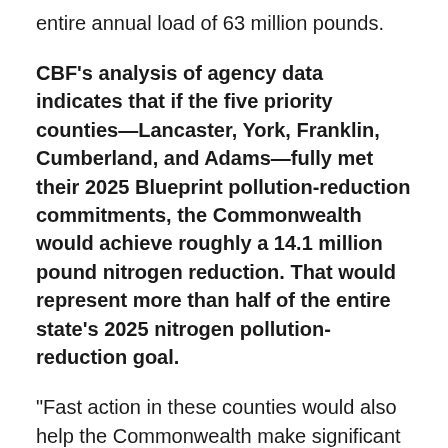entire annual load of 63 million pounds.
CBF's analysis of agency data indicates that if the five priority counties—Lancaster, York, Franklin, Cumberland, and Adams—fully met their 2025 Blueprint pollution-reduction commitments, the Commonwealth would achieve roughly a 14.1 million pound nitrogen reduction. That would represent more than half of the entire state's 2025 nitrogen pollution-reduction goal.
"Fast action in these counties would also help the Commonwealth make significant progress against its most immediate challenge, the projected 2017